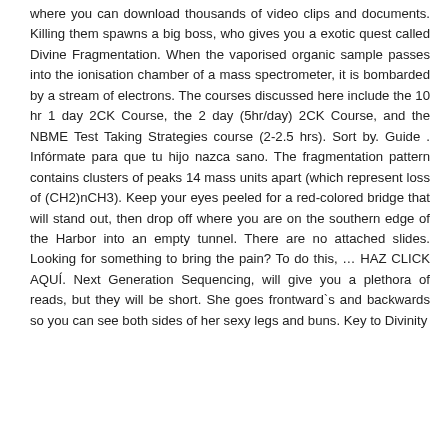where you can download thousands of video clips and documents. Killing them spawns a big boss, who gives you a exotic quest called Divine Fragmentation. When the vaporised organic sample passes into the ionisation chamber of a mass spectrometer, it is bombarded by a stream of electrons. The courses discussed here include the 10 hr 1 day 2CK Course, the 2 day (5hr/day) 2CK Course, and the NBME Test Taking Strategies course (2-2.5 hrs). Sort by. Guide . Infórmate para que tu hijo nazca sano. The fragmentation pattern contains clusters of peaks 14 mass units apart (which represent loss of (CH2)nCH3). Keep your eyes peeled for a red-colored bridge that will stand out, then drop off where you are on the southern edge of the Harbor into an empty tunnel. There are no attached slides. Looking for something to bring the pain? To do this, … HAZ CLICK AQUÍ. Next Generation Sequencing, will give you a plethora of reads, but they will be short. She goes frontward`s and backwards so you can see both sides of her sexy legs and buns. Key to Divinity